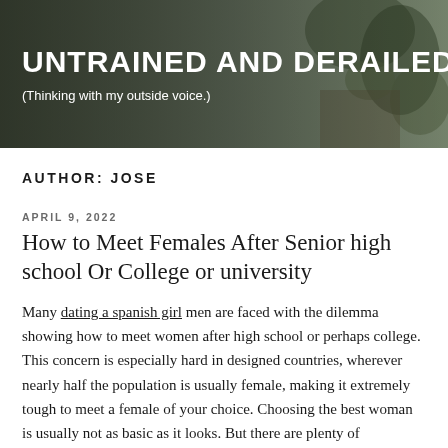[Figure (photo): Website header banner with dark overlay showing a desk scene with plants in the background. Site title 'UNTRAINED AND DERAILED' and tagline '(Thinking with my outside voice.)' overlaid in white text.]
UNTRAINED AND DERAILED
(Thinking with my outside voice.)
AUTHOR: JOSE
APRIL 9, 2022
How to Meet Females After Senior high school Or College or university
Many dating a spanish girl men are faced with the dilemma showing how to meet women after high school or perhaps college. This concern is especially hard in designed countries, wherever nearly half the population is usually female, making it extremely tough to meet a female of your choice. Choosing the best woman is usually not as basic as it looks. But there are plenty of